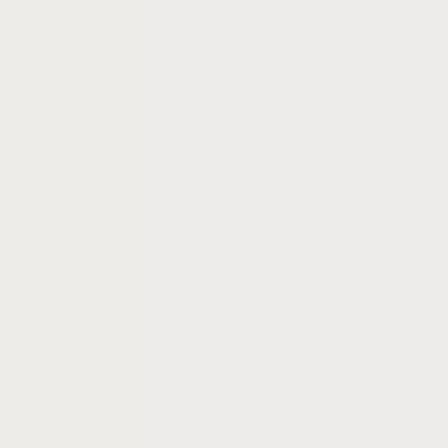Mills cofounded Digital Power Capital, a boutique venture fund, and was chairman and CTO of ICx Tech